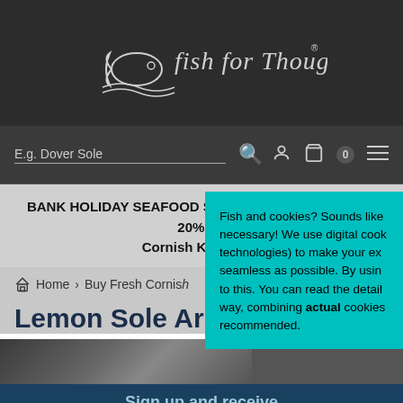[Figure (logo): Fish for Thought logo with stylized fish and cursive text on dark charcoal background]
[Figure (screenshot): Navigation bar with search input placeholder 'E.g. Dover Sole', search icon, user icon, cart icon with 0 badge, and hamburger menu icon]
BANK HOLIDAY SEAFOOD SAVERS! 30% off lobster & 20% off Cornish King Crab
Home › Buy Fresh Cornish
Lemon Sole An
[Figure (photo): Partial product photo of lemon sole on dark rocky background]
Sign up and receive ord
Fish and cookies? Sounds like necessary! We use digital cook technologies) to make your ex seamless as possible. By usin to this. You can read the detail way, combining actual cookies recommended.